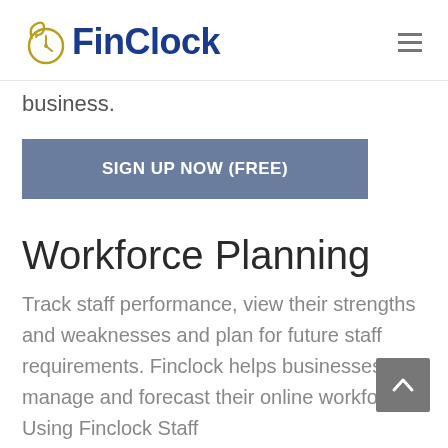FinClock
business.
SIGN UP NOW (FREE)
Workforce Planning
Track staff performance, view their strengths and weaknesses and plan for future staff requirements. Finclock helps businesses manage and forecast their online workforce. Using Finclock Staff